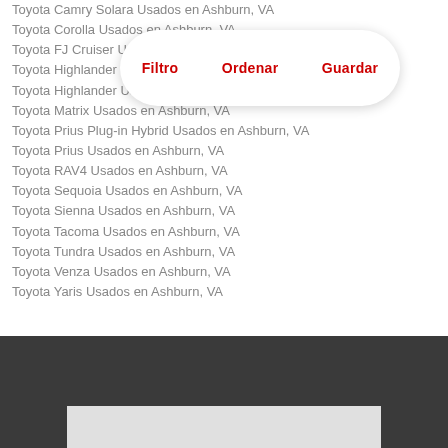Toyota Camry Solara Usados en Ashburn, VA
Toyota Corolla Usados en Ashburn, VA
Toyota FJ Cruiser Usados en Ashburn, VA
Toyota Highlander Hybrid Usados en Ashburn, VA
Toyota Highlander Usados en Ashburn, VA
Toyota Matrix Usados en Ashburn, VA
Toyota Prius Plug-in Hybrid Usados en Ashburn, VA
Toyota Prius Usados en Ashburn, VA
Toyota RAV4 Usados en Ashburn, VA
Toyota Sequoia Usados en Ashburn, VA
Toyota Sienna Usados en Ashburn, VA
Toyota Tacoma Usados en Ashburn, VA
Toyota Tundra Usados en Ashburn, VA
Toyota Venza Usados en Ashburn, VA
Toyota Yaris Usados en Ashburn, VA
[Figure (screenshot): Dark footer bar with a light gray rectangle at the bottom, overlaid by a white pill-shaped button bar containing three red bold labels: Filtro, Ordenar, Guardar]